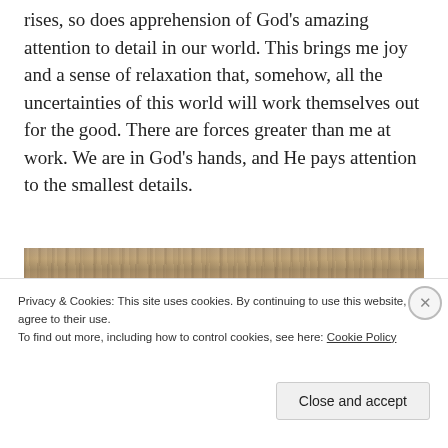rises, so does apprehension of God's amazing attention to detail in our world. This brings me joy and a sense of relaxation that, somehow, all the uncertainties of this world will work themselves out for the good. There are forces greater than me at work. We are in God's hands, and He pays attention to the smallest details.
[Figure (photo): Close-up photograph of weathered wooden planks with visible grain and texture, gray-brown tones.]
Privacy & Cookies: This site uses cookies. By continuing to use this website, you agree to their use.
To find out more, including how to control cookies, see here: Cookie Policy
Close and accept